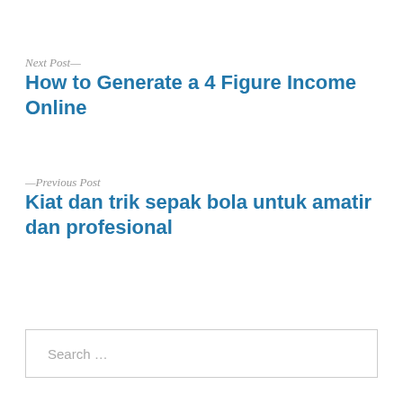Next Post—
How to Generate a 4 Figure Income Online
—Previous Post
Kiat dan trik sepak bola untuk amatir dan profesional
Search …